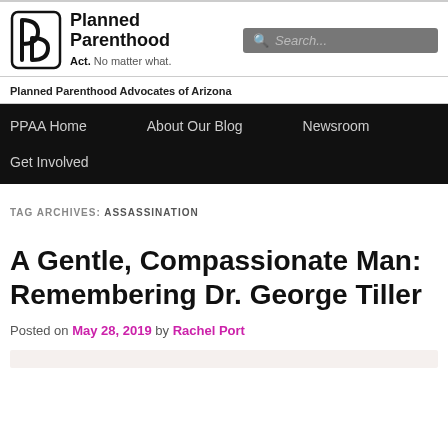[Figure (logo): Planned Parenthood logo with icon and tagline 'Act. No matter what.' and a search box]
Planned Parenthood Advocates of Arizona
PPAA Home   About Our Blog   Newsroom   Get Involved
TAG ARCHIVES: ASSASSINATION
A Gentle, Compassionate Man: Remembering Dr. George Tiller
Posted on May 28, 2019 by Rachel Port